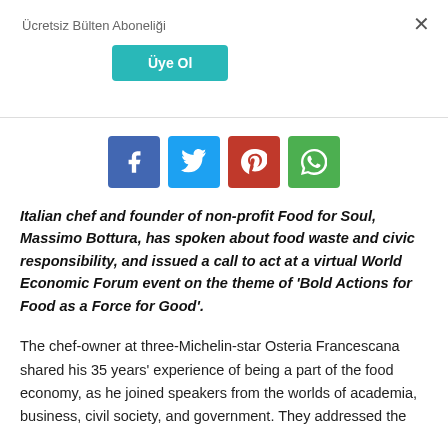Ücretsiz Bülten Aboneliği
Üye Ol
[Figure (other): Social sharing buttons: Facebook (blue), Twitter (light blue), Pinterest (red), WhatsApp (green)]
Italian chef and founder of non-profit Food for Soul, Massimo Bottura, has spoken about food waste and civic responsibility, and issued a call to act at a virtual World Economic Forum event on the theme of 'Bold Actions for Food as a Force for Good'.
The chef-owner at three-Michelin-star Osteria Francescana shared his 35 years' experience of being a part of the food economy, as he joined speakers from the worlds of academia, business, civil society, and government. They addressed the